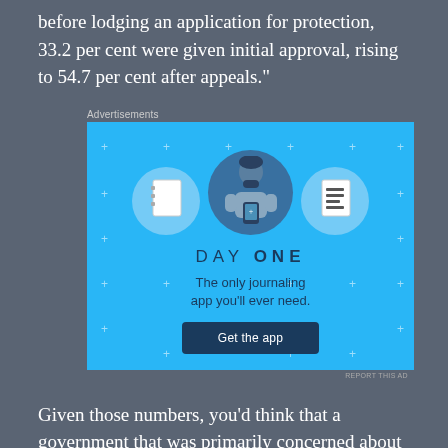before lodging an application for protection, 33.2 per cent were given initial approval, rising to 54.7 per cent after appeals.”
[Figure (other): Advertisement for Day One journaling app on a blue background with illustration of a person holding a phone flanked by two circular icons showing a notebook and a list. Text reads: DAY ONE - The only journaling app you'll ever need. Get the app button.]
Given those numbers, you’d think that a government that was primarily concerned about the welfare of